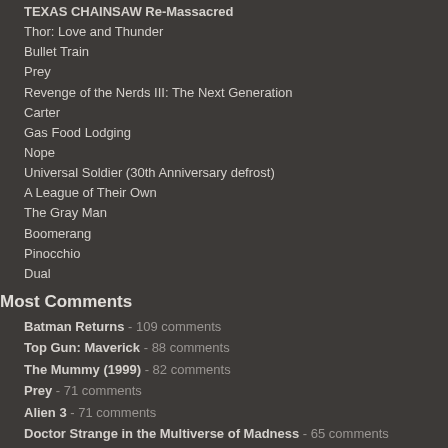TEXAS CHAINSAW Re-Massacred
Thor: Love and Thunder
Bullet Train
Prey
Revenge of the Nerds III: The Next Generation
Carter
Gas Food Lodging
Nope
Universal Soldier (30th Anniversary defrost)
A League of Their Own
The Gray Man
Boomerang
Pinocchio
Dual
Most Comments
Batman Returns - 109 comments
Top Gun: Maverick - 88 comments
The Mummy (1999) - 82 comments
Prey - 71 comments
Alien 3 - 71 comments
Doctor Strange in the Multiverse of Madness - 65 comments
I think they call this a shoot interview - 52 comments
Elvis - 50 comments
Jurassic World Dominion - 41 comments